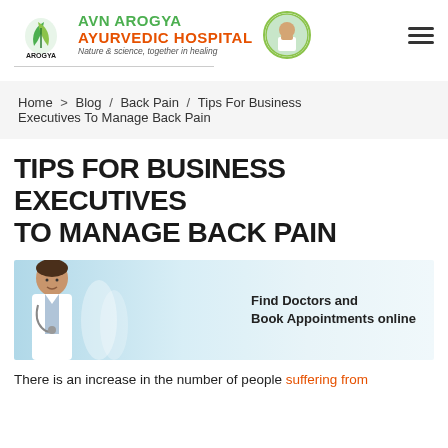AVN AROGYA AYURVEDIC HOSPITAL — Nature & science, together in healing
Home > Blog / Back Pain / Tips For Business Executives To Manage Back Pain
TIPS FOR BUSINESS EXECUTIVES TO MANAGE BACK PAIN
[Figure (photo): Banner image showing a smiling male doctor in white coat with stethoscope and colleagues in background, with text overlay: Find Doctors and Book Appointments online]
There is an increase in the number of people suffering from